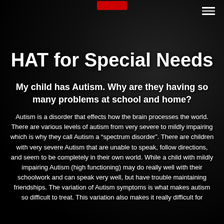HAT for Special Needs
HAT for Special Needs
My child has Autism. Why are they having so many problems at school and home?
Autism is a disorder that effects how the brain processes the world. There are various levels of autism from very severe to mildly impairing which is why they call Autism a “spectrum disorder”. There are children with very severe Autism that are unable to speak, follow directions, and seem to be completely in their own world. While a child with mildly impairing Autism (high functioning) may do really well with their schoolwork and can speak very well, but have trouble maintaining friendships. The variation of Autism symptoms is what makes autism so difficult to treat. This variation also makes it really difficult for